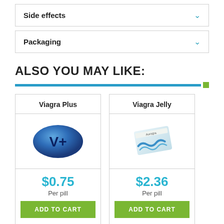Side effects
Packaging
ALSO YOU MAY LIKE:
[Figure (other): Blue horizontal bar with green square on right]
Viagra Plus
[Figure (illustration): Blue oval pill with V+ text]
$0.75 Per pill
ADD TO CART
Viagra Jelly
[Figure (illustration): Aurogra medicine packet with blue wave design]
$2.36 Per pill
ADD TO CART
Viagra Super
Viagra Soft